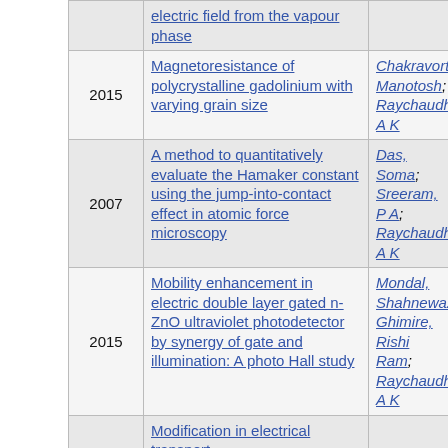| Year | Title | Authors |
| --- | --- | --- |
|  | electric field from the vapour phase |  |
| 2015 | Magnetoresistance of polycrystalline gadolinium with varying grain size | Chakravorty, Manotosh; Raychaudhuri, A K |
| 2007 | A method to quantitatively evaluate the Hamaker constant using the jump-into-contact effect in atomic force microscopy | Das, Soma; Sreeram, P A; Raychaudhuri, A K |
| 2015 | Mobility enhancement in electric double layer gated n-ZnO ultraviolet photodetector by synergy of gate and illumination: A photo Hall study | Mondal, Shahnewaz; Ghimire, Rishi Ram; Raychaudhuri, A K |
|  | Modification in electrical transport... |  |